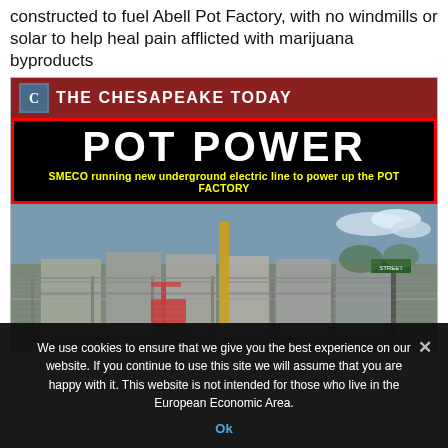constructed to fuel Abell Pot Factory, with no windmills or solar to help heal pain afflicted with marijuana byproducts
[Figure (screenshot): Screenshot of The Chesapeake Today newspaper article with headline 'POT POWER' and subheadline 'SMECO running new underground electric line to power up the POT FACTORY', showing a photo of an industrial facility behind a chain-link fence with barbed wire.]
We use cookies to ensure that we give you the best experience on our website. If you continue to use this site we will assume that you are happy with it. This website is not intended for those who live in the European Economic Area.
Ok